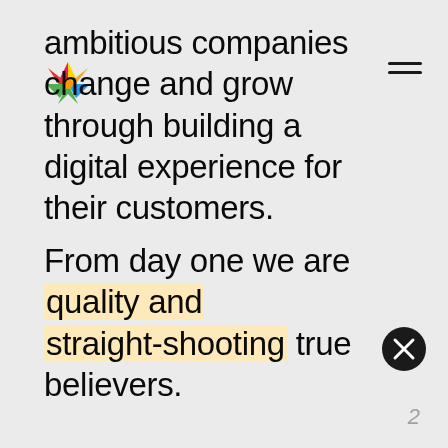[Figure (logo): Colorful star-shaped logo with red, green, blue, yellow, and orange points]
ambitious companies change and grow through building a digital experience for their customers.
[Figure (other): Hamburger menu icon with two horizontal lines]
From day one we are quality and straight-shooting true believers.
[Figure (other): Black circle with white X close button]
2